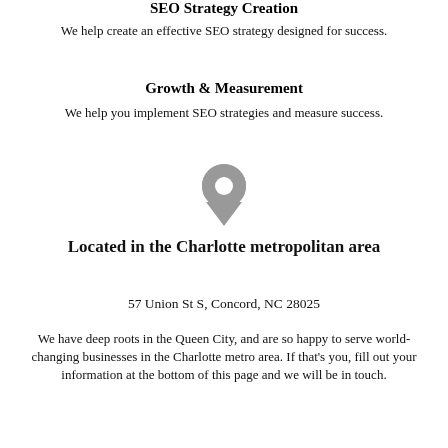SEO Strategy Creation
We help create an effective SEO strategy designed for success.
Growth & Measurement
We help you implement SEO strategies and measure success.
[Figure (illustration): Gray map location pin / drop icon]
Located in the Charlotte metropolitan area
57 Union St S, Concord, NC 28025
We have deep roots in the Queen City, and are so happy to serve world-changing businesses in the Charlotte metro area. If that's you, fill out your information at the bottom of this page and we will be in touch.